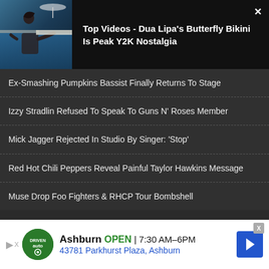[Figure (photo): Thumbnail of a person in a bikini in a pool, video banner for Top Videos]
Top Videos - Dua Lipa's Butterfly Bikini Is Peak Y2K Nostalgia
Ex-Smashing Pumpkins Bassist Finally Returns To Stage
Izzy Stradlin Refused To Speak To Guns N' Roses Member
Mick Jagger Rejected In Studio By Singer: 'Stop'
Red Hot Chili Peppers Reveal Painful Taylor Hawkins Message
Muse Drop Foo Fighters & RHCP Tour Bombshell
[Figure (advertisement): Ad banner for Driven Auto in Ashburn, OPEN 7:30AM-6PM, 43781 Parkhurst Plaza, Ashburn]